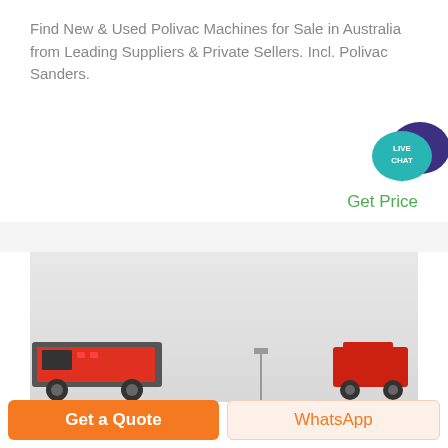Find New & Used Polivac Machines for Sale in Australia from Leading Suppliers & Private Sellers. Incl. Polivac Sanders.
[Figure (illustration): Live Chat speech bubble icon with teal foreground bubble labeled LIVE CHAT and dark purple background bubble]
Get Price
[Figure (photo): Product photo showing industrial machines on a light gray background. Left side shows a large red and gray machine, center has a tall pole with light, right side shows a smaller red machine.]
Get a Quote
WhatsApp